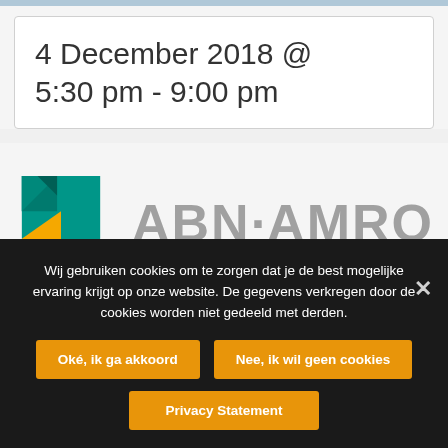4 December 2018 @ 5:30 pm - 9:00 pm
[Figure (logo): ABN AMRO bank logo with green and yellow shield emblem and grey ABN·AMRO text]
Wij gebruiken cookies om te zorgen dat je de best mogelijke ervaring krijgt op onze website. De gegevens verkregen door de cookies worden niet gedeeld met derden.
Oké, ik ga akkoord
Nee, ik wil geen cookies
Privacy Statement